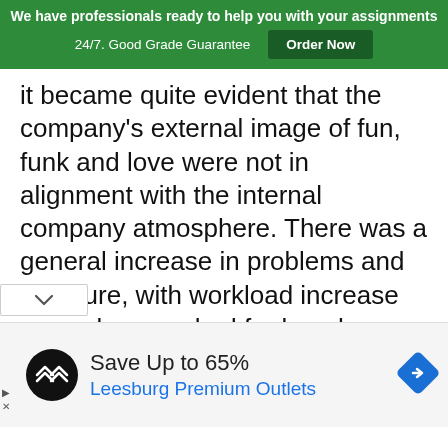We have professionals ready to help you with your assignments 24/7. Good Grade Guarantee  Order Now
it became quite evident that the company's external image of fun, funk and love were not in alignment with the internal company atmosphere. There was a general increase in problems and pressure, with workload increase as workers worked for long hours and ice cream demand soured which could not be met by the production department.
[Figure (infographic): Advertisement banner: Save Up to 65% Leesburg Premium Outlets with a black circular logo with double arrow icon and a blue navigation diamond icon on the right.]